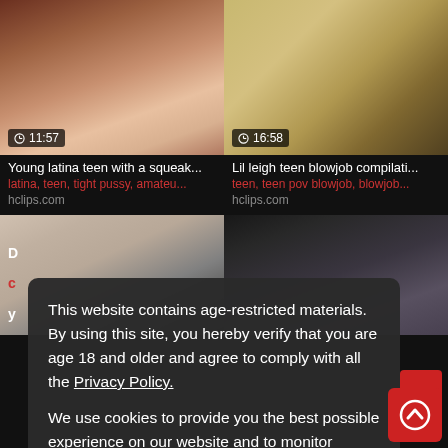[Figure (screenshot): Video thumbnail left top - duration 11:57]
[Figure (screenshot): Video thumbnail right top - duration 16:58]
Young latina teen with a squeak...
latina, teen, tight pussy, amateu...
hclips.com
Lil leigh teen blowjob compilati...
teen, teen pov blowjob, blowjob...
hclips.com
[Figure (screenshot): Video thumbnail left bottom partial]
[Figure (screenshot): Video thumbnail right bottom partial]
This website contains age-restricted materials. By using this site, you hereby verify that you are age 18 and older and agree to comply with all the Privacy Policy.
We use cookies to provide you the best possible experience on our website and to monitor website traffic. Cookies Policy.